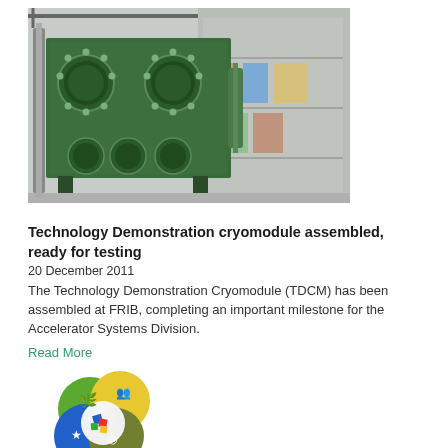[Figure (photo): Green metal Technology Demonstration Cryomodule (TDCM) equipment in a laboratory/facility setting]
Technology Demonstration cryomodule assembled, ready for testing
20 December 2011
The Technology Demonstration Cryomodule (TDCM) has been assembled at FRIB, completing an important milestone for the Accelerator Systems Division.
Read More
[Figure (logo): FRIB logo with four overlapping colored circles (green, yellow, blue, olive) and a central white sphere with colorful squares, and the text FRIB below in bold black]
Experimental Systems Division on track to support CD-2/3A and start of construction
19 December 2011